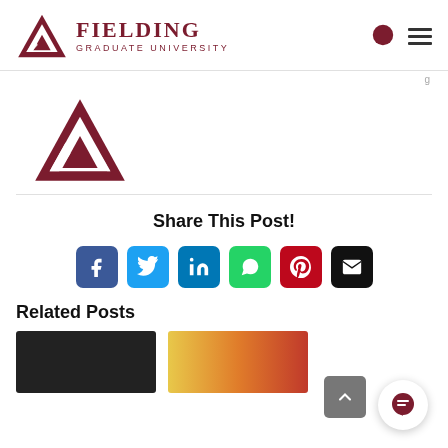Fielding Graduate University
[Figure (logo): Fielding Graduate University large triangle logo mark in dark red/maroon]
Share This Post!
[Figure (infographic): Social share buttons: Facebook, Twitter, LinkedIn, WhatsApp, Pinterest, Email]
Related Posts
[Figure (photo): Two thumbnail images for related posts]